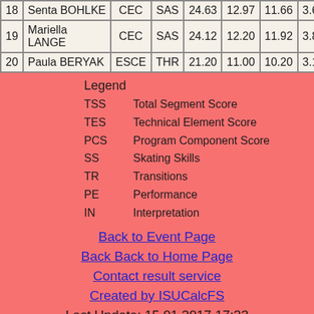| # | Name | Nation | Event | TSS | TES | PCS | SS | TR |
| --- | --- | --- | --- | --- | --- | --- | --- | --- |
| 18 | Senta BOHLKE | CEC | SAS | 24.63 | 12.97 | 11.66 | 3.67 | 3.58 |
| 19 | Mariella LANGE | CEC | SAS | 24.12 | 12.20 | 11.92 | 3.83 | 3.58 |
| 20 | Paula BERYAK | ESCE | THR | 21.20 | 11.00 | 10.20 | 3.17 | 3.25 |
Legend
TSS - Total Segment Score
TES - Technical Element Score
PCS - Program Component Score
SS - Skating Skills
TR - Transitions
PE - Performance
IN - Interpretation
Back to Event Page
Back Back to Home Page
Contact result service
Created by ISUCalcFS
Last Update: 15.01.2017 17:33